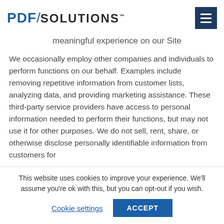PDF/SOLUTIONS
meaningful experience on our Site
We occasionally employ other companies and individuals to perform functions on our behalf. Examples include removing repetitive information from customer lists, analyzing data, and providing marketing assistance. These third-party service providers have access to personal information needed to perform their functions, but may not use it for other purposes. We do not sell, rent, share, or otherwise disclose personally identifiable information from customers for
This website uses cookies to improve your experience. We'll assume you're ok with this, but you can opt-out if you wish.
Cookie settings  ACCEPT